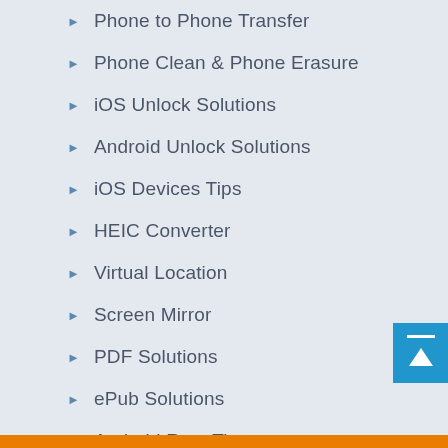Phone to Phone Transfer
Phone Clean & Phone Erasure
iOS Unlock Solutions
Android Unlock Solutions
iOS Devices Tips
HEIC Converter
Virtual Location
Screen Mirror
PDF Solutions
ePub Solutions
Android Root Tips
Apple Watch Tips
Data Recovery